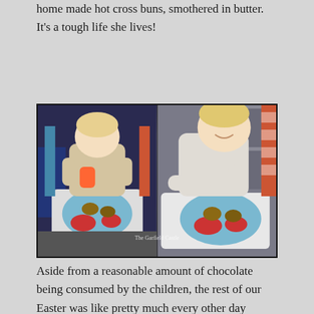home made hot cross buns, smothered in butter. It's a tough life she lives!
[Figure (photo): Two side-by-side photos of a baby/toddler sitting in a high chair with a blue elephant-shaped plate, eating hot cross buns. Left photo shows baby drinking from a cup; right photo shows baby reaching for food. Watermark reads 'The Garfield Castle'.]
Aside from a reasonable amount of chocolate being consumed by the children, the rest of our Easter was like pretty much every other day during our iso-April. We had baked quite the batch of hot cross buns so Astrid and I walked to drop some buns and Easter eggs to friends. Play